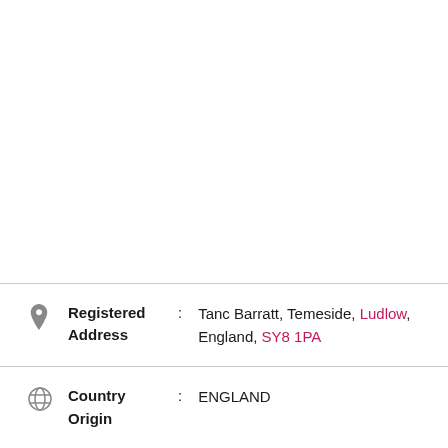Registered Address : Tanc Barratt, Temeside, Ludlow, England, SY8 1PA
Country Origin : ENGLAND